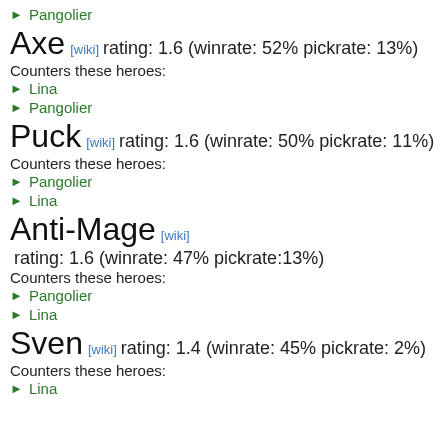▶ Pangolier
Axe [wiki] rating: 1.6 (winrate: 52% pickrate: 13%)
Counters these heroes:
▶ Lina
▶ Pangolier
Puck [wiki] rating: 1.6 (winrate: 50% pickrate: 11%)
Counters these heroes:
▶ Pangolier
▶ Lina
Anti-Mage [wiki] rating: 1.6 (winrate: 47% pickrate: 13%)
Counters these heroes:
▶ Pangolier
▶ Lina
Sven [wiki] rating: 1.4 (winrate: 45% pickrate: 2%)
Counters these heroes:
▶ Lina